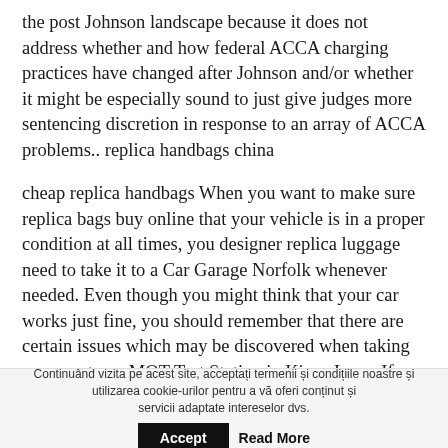the post Johnson landscape because it does not address whether and how federal ACCA charging practices have changed after Johnson and/or whether it might be especially sound to just give judges more sentencing discretion in response to an array of ACCA problems.. replica handbags china
cheap replica handbags When you want to make sure replica bags buy online that your vehicle is in a proper condition at all times, you designer replica luggage need to take it to a Car Garage Norfolk whenever needed. Even though you might think that your car works just fine, you should remember that there are certain issues which may be discovered when taking your car to an MOT Test Station in Kings Lynn. If you want to save money, you
Continuând vizita pe acest site, acceptați termenii și condițiile noastre și utilizarea cookie-urilor pentru a vă oferi conținut și servicii adaptate intereselor dvs.
Accept
Read More